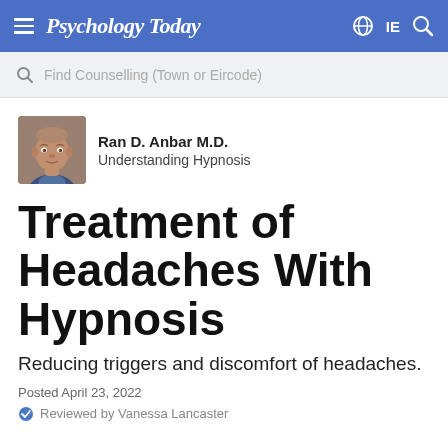Psychology Today
Find Counselling (Town or Eircode)
[Figure (photo): Headshot photo of Ran D. Anbar M.D., a middle-aged man in a blue shirt]
Ran D. Anbar M.D.
Understanding Hypnosis
Treatment of Headaches With Hypnosis
Reducing triggers and discomfort of headaches.
Posted April 23, 2022
Reviewed by Vanessa Lancaster